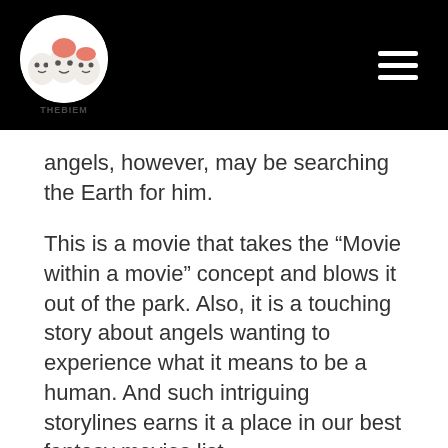[Figure (logo): THEBIEM logo: circular logo with cartoon ghost/chick characters on a black header bar, with hamburger menu icon on the right]
angels, however, may be searching the Earth for him.
This is a movie that takes the “Movie within a movie” concept and blows it out of the park. Also, it is a touching story about angels wanting to experience what it means to be a human. And such intriguing storylines earns it a place in our best fantasy movies list.